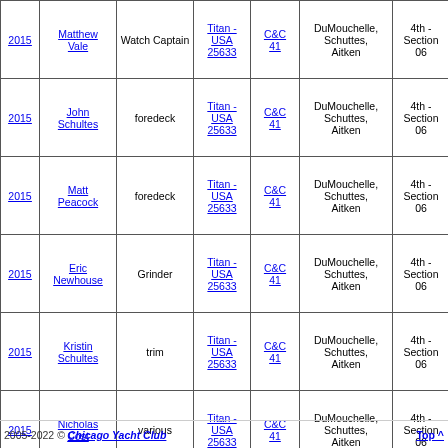| Year | Name | Role | Boat | Class | Crew | Division | Time |
| --- | --- | --- | --- | --- | --- | --- | --- |
| 2015 | Matthew Vale | Watch Captain | Titan - USA 25633 | C&C 41 | DuMouchelle, Schuttes, Aitken | 4th - Section 06 | 51:12:00 |
| 2015 | John Schultes | foredeck | Titan - USA 25633 | C&C 41 | DuMouchelle, Schuttes, Aitken | 4th - Section 06 | 51:12:00 |
| 2015 | Matt Peacock | foredeck | Titan - USA 25633 | C&C 41 | DuMouchelle, Schuttes, Aitken | 4th - Section 06 | 51:12:00 |
| 2015 | Eric Newhouse | Grinder | Titan - USA 25633 | C&C 41 | DuMouchelle, Schuttes, Aitken | 4th - Section 06 | 51:12:00 |
| 2015 | Kristin Schultes | trim | Titan - USA 25633 | C&C 41 | DuMouchelle, Schuttes, Aitken | 4th - Section 06 | 51:12:00 |
| 2015 | Nicholas Cost | various | Titan - USA 25633 | C&C 41 | DuMouchelle, Schuttes, Aitken | 4th - Section 06 | 51:12:00 |
Close Window
2005-2022 © Chicago Yacht Club    Top ^